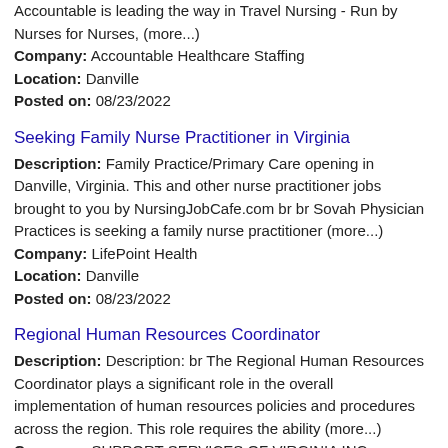Accountable is leading the way in Travel Nursing - Run by Nurses for Nurses, (more...)
Company: Accountable Healthcare Staffing
Location: Danville
Posted on: 08/23/2022
Seeking Family Nurse Practitioner in Virginia
Description: Family Practice/Primary Care opening in Danville, Virginia. This and other nurse practitioner jobs brought to you by NursingJobCafe.com br br Sovah Physician Practices is seeking a family nurse practitioner (more...)
Company: LifePoint Health
Location: Danville
Posted on: 08/23/2022
Regional Human Resources Coordinator
Description: Description: br The Regional Human Resources Coordinator plays a significant role in the overall implementation of human resources policies and procedures across the region. This role requires the ability (more...)
Company: SUPPORT SERVICES OF VIRGINIA INC.
Location: Danville
Posted on: 08/23/2022